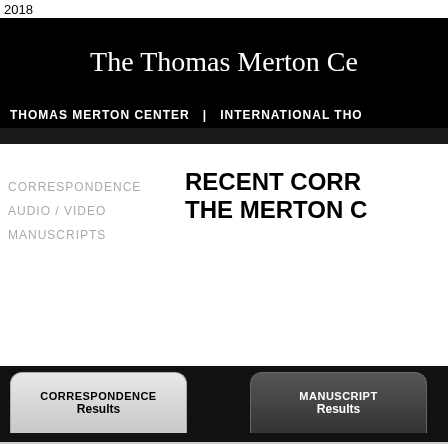2018
The Thomas Merton Ce
THOMAS MERTON CENTER | INTERNATIONAL THO
CORRESPONDENCE
AUDIO / VIDEO
MANUSCRIPTS
RECENT CORR THE MERTON C
CORRESPONDENCE Results
MANUSCRIPT Results